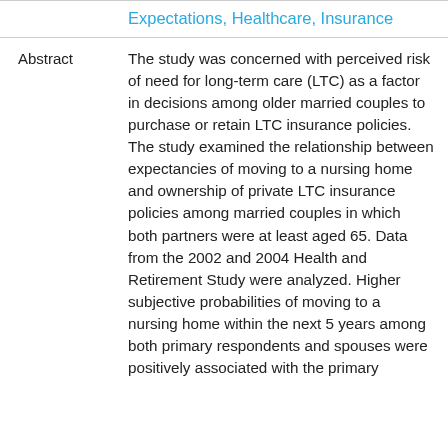Expectations, Healthcare, Insurance
Abstract
The study was concerned with perceived risk of need for long-term care (LTC) as a factor in decisions among older married couples to purchase or retain LTC insurance policies. The study examined the relationship between expectancies of moving to a nursing home and ownership of private LTC insurance policies among married couples in which both partners were at least aged 65. Data from the 2002 and 2004 Health and Retirement Study were analyzed. Higher subjective probabilities of moving to a nursing home within the next 5 years among both primary respondents and spouses were positively associated with the primary